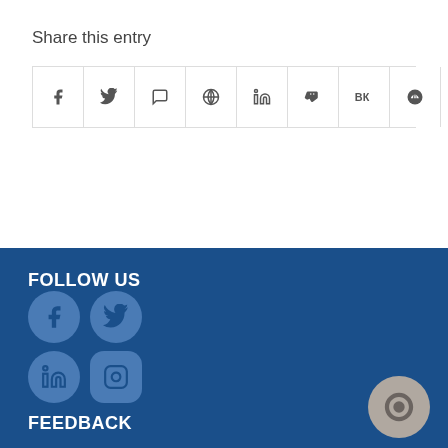Share this entry
[Figure (infographic): Social share buttons row: Facebook, Twitter, WhatsApp, Pinterest, LinkedIn, Tumblr, VK, Reddit, Email]
FOLLOW US
[Figure (infographic): Social media circle icons: Facebook, Twitter, LinkedIn, Instagram]
FEEDBACK